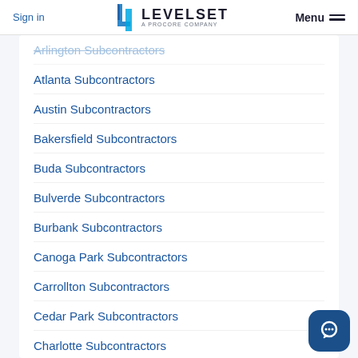Sign in | LEVELSET A PROCORE COMPANY | Menu
Arlington Subcontractors
Atlanta Subcontractors
Austin Subcontractors
Bakersfield Subcontractors
Buda Subcontractors
Bulverde Subcontractors
Burbank Subcontractors
Canoga Park Subcontractors
Carrollton Subcontractors
Cedar Park Subcontractors
Charlotte Subcontractors